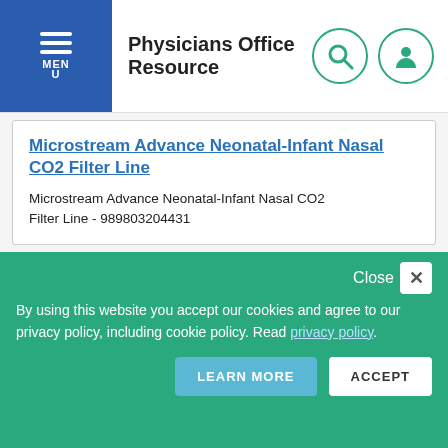Physicians Office Resource
Microstream Advance Neonatal-Infant Nasal CO2 Filter Line
Microstream Advance Neonatal-Infant Nasal CO2 Filter Line - 989803204431
Microstream Advance Neonatal-Infant Nasal CO2 Filter Line
Microstream Advance Neonatal-Infant Nasal CO2 Filter Line - 989803204441
Microstream Advance Neonatal-Infant Nasal CO2 Filter Line
By using this website you accept our cookies and agree to our privacy policy, including cookie policy. Read privacy policy.